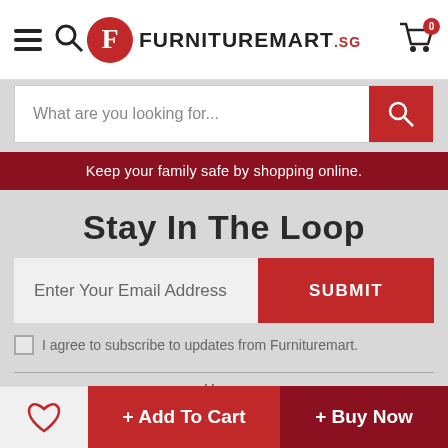[Figure (logo): FurnitureMart.sg logo with hamburger menu, search icon, and cart icon in header]
What are you looking for...
Keep your family safe by shopping online.
Stay In The Loop
Enter Your Email Address
SUBMIT
I agree to subscribe to updates from Furnituremart.
Home
About Us
+ Add To Cart
+ Buy Now